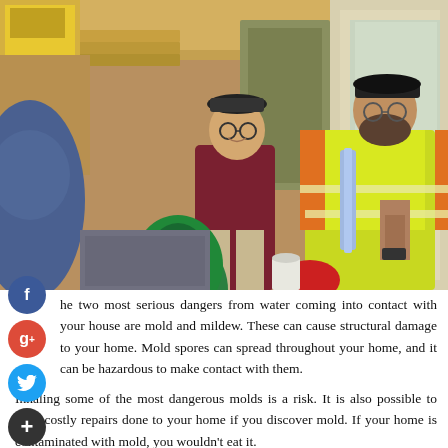[Figure (photo): Two men in a warehouse/workshop setting. One man wearing a maroon shirt and cap is smiling, the other man wears a bright yellow-green safety vest with orange shirt, cap, and glasses. They appear to be looking at a document. A third person in blue is partially visible on the left. Background shows wooden structure, equipment.]
The two most serious dangers from water coming into contact with your house are mold and mildew. These can cause structural damage to your home. Mold spores can spread throughout your home, and it can be hazardous to make contact with them.
Inhaling some of the most dangerous molds is a risk. It is also possible to have costly repairs done to your home if you discover mold. If your home is contaminated with mold, you wouldn't eat it.